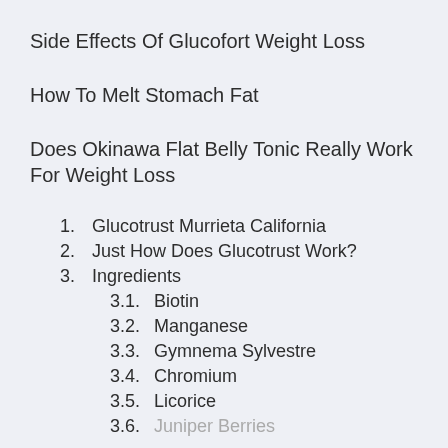Side Effects Of Glucofort Weight Loss
How To Melt Stomach Fat
Does Okinawa Flat Belly Tonic Really Work For Weight Loss
1. Glucotrust Murrieta California
2. Just How Does Glucotrust Work?
3. Ingredients
3.1. Biotin
3.2. Manganese
3.3. Gymnema Sylvestre
3.4. Chromium
3.5. Licorice
3.6. Juniper Berries